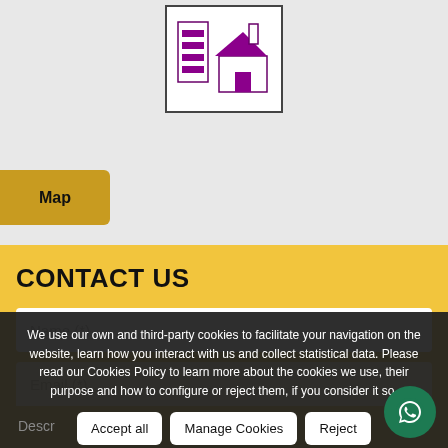[Figure (logo): Building/real estate logo with purple house and striped tower shapes on white background with dark border]
Map
CONTACT US
Name (*)
Email (*)
We use our own and third-party cookies to facilitate your navigation on the website, learn how you interact with us and collect statistical data. Please read our Cookies Policy to learn more about the cookies we use, their purpose and how to configure or reject them, if you consider it so.
Accept all
Manage Cookies
Reject
Descr